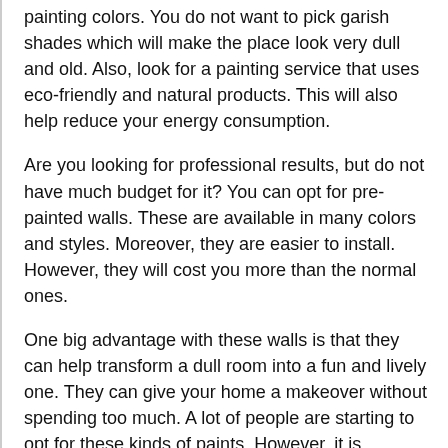painting colors. You do not want to pick garish shades which will make the place look very dull and old. Also, look for a painting service that uses eco-friendly and natural products. This will also help reduce your energy consumption.
Are you looking for professional results, but do not have much budget for it? You can opt for pre-painted walls. These are available in many colors and styles. Moreover, they are easier to install. However, they will cost you more than the normal ones.
One big advantage with these walls is that they can help transform a dull room into a fun and lively one. They can give your home a makeover without spending too much. A lot of people are starting to opt for these kinds of paints. However, it is important to consult an expert before going ahead with it. This is because some colors can clash with each other.
However, professional house painting services also in...